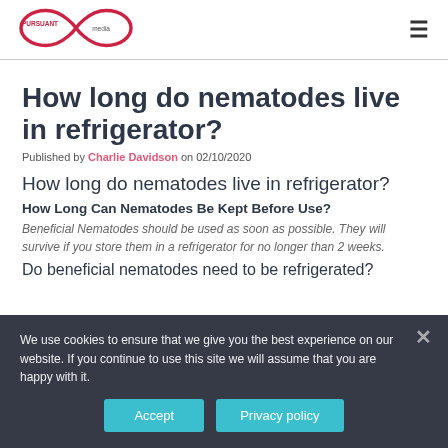[Figure (logo): Pursuant Media logo — infinity symbol with 'PURSUANT media' text inside]
How long do nematodes live in refrigerator?
Published by Charlie Davidson on 02/10/2020
How long do nematodes live in refrigerator?
How Long Can Nematodes Be Kept Before Use?
Beneficial Nematodes should be used as soon as possible. They will survive if you store them in a refrigerator for no longer than 2 weeks.
Do beneficial nematodes need to be refrigerated?
We use cookies to ensure that we give you the best experience on our website. If you continue to use this site we will assume that you are happy with it.